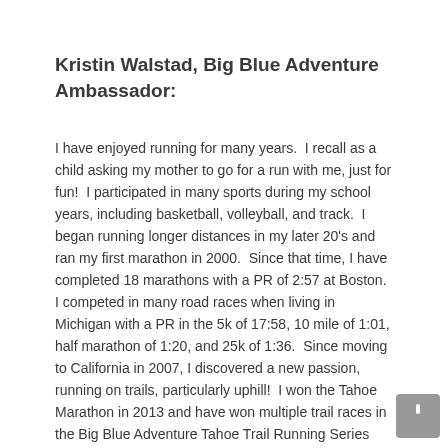Kristin Walstad, Big Blue Adventure Ambassador:
I have enjoyed running for many years.  I recall as a child asking my mother to go for a run with me, just for fun!  I participated in many sports during my school years, including basketball, volleyball, and track.  I began running longer distances in my later 20's and ran my first marathon in 2000.  Since that time, I have completed 18 marathons with a PR of 2:57 at Boston.  I competed in many road races when living in Michigan with a PR in the 5k of 17:58, 10 mile of 1:01, half marathon of 1:20, and 25k of 1:36.  Since moving to California in 2007, I discovered a new passion, running on trails, particularly uphill!  I won the Tahoe Marathon in 2013 and have won multiple trail races in the Big Blue Adventure Tahoe Trail Running Series and races to the stop of Squaw, Northstar, and Vail.   In the winter months, I continue to run but also love to telemark ski.  When I am not playing outdoors, I work as a physical therapist for the Tahoe Sports and Performance Center